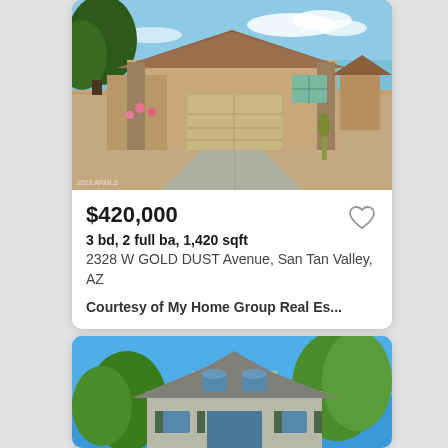[Figure (photo): Exterior photo of a single-story tan stucco house with tile roof and two-car garage, desert landscaping, blue sky with clouds]
$420,000
3 bd, 2 full ba, 1,420 sqft
2328 W GOLD DUST Avenue, San Tan Valley, AZ
Courtesy of My Home Group Real Es...
[Figure (photo): Exterior photo of a two-story gray stucco house with blue sky and green trees in background]